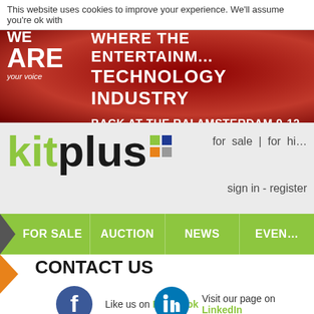This website uses cookies to improve your experience. We'll assume you're ok with
[Figure (illustration): Red banner with 'WE ARE Your voice' logo on left and 'WHERE THE ENTERTAINMENT TECHNOLOGY INDUSTRY' heading with 'BACK AT THE RAI AMSTERDAM 9-12 SEPTEMBER' on right]
[Figure (logo): kitplus logo with green 'kit' text, black 'plus' text, and colorful dot grid (green, blue, orange, gray squares)]
for sale | for hire
sign in - register
FOR SALE | AUCTION | NEWS | EVENTS
CONTACT US
Like us on Facebook
Visit our page on LinkedIn